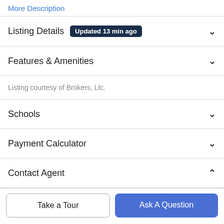More Description
Listing Details Updated 13 min ago
Features & Amenities
Listing courtesy of Brokers, Llc.
Schools
Payment Calculator
Contact Agent
Take a Tour
Ask A Question